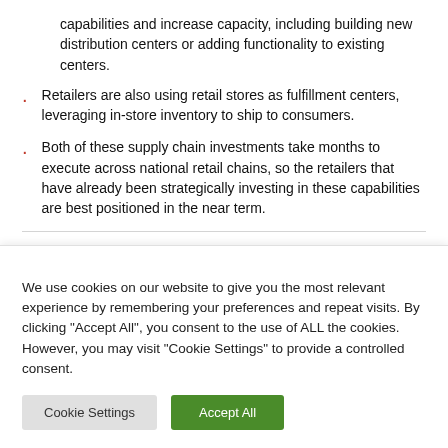capabilities and increase capacity, including building new distribution centers or adding functionality to existing centers.
Retailers are also using retail stores as fulfillment centers, leveraging in-store inventory to ship to consumers.
Both of these supply chain investments take months to execute across national retail chains, so the retailers that have already been strategically investing in these capabilities are best positioned in the near term.
We use cookies on our website to give you the most relevant experience by remembering your preferences and repeat visits. By clicking "Accept All", you consent to the use of ALL the cookies. However, you may visit "Cookie Settings" to provide a controlled consent.